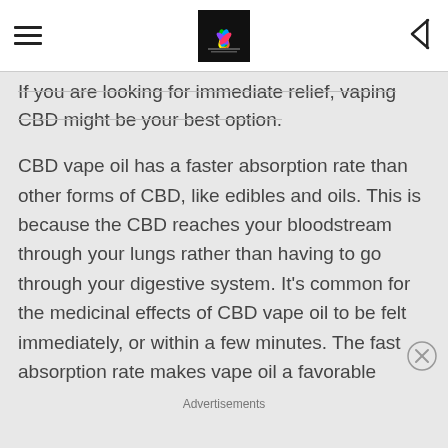If you are looking for immediate relief, vaping CBD might be your best option.
CBD vape oil has a faster absorption rate than other forms of CBD, like edibles and oils. This is because the CBD reaches your bloodstream through your lungs rather than having to go through your digestive system. It's common for the medicinal effects of CBD vape oil to be felt immediately, or within a few minutes. The fast absorption rate makes vape oil a favorable
Advertisements